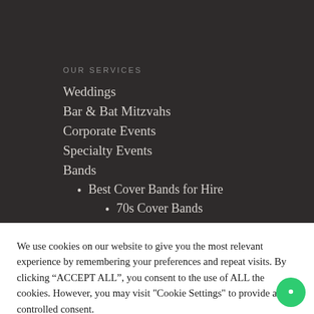OUR SERVICES
Weddings
Bar & Bat Mitzvahs
Corporate Events
Specialty Events
Bands
Best Cover Bands for Hire
70s Cover Bands
We use cookies on our website to give you the most relevant experience by remembering your preferences and repeat visits. By clicking “ACCEPT ALL”, you consent to the use of ALL the cookies. However, you may visit "Cookie Settings" to provide a controlled consent.
Cookie Settings | REJECT ALL | ACCEPT ALL